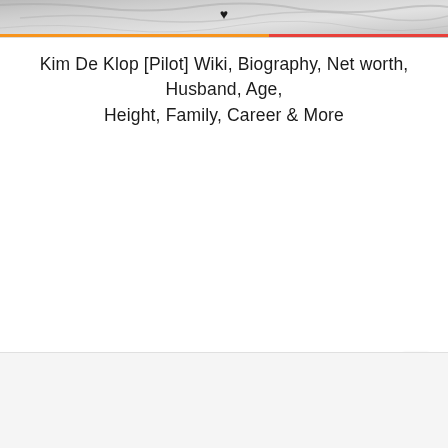[Figure (photo): Partial top portion of a marble or stone textured image with a dark heart icon visible near center top, and an orange-to-red horizontal gradient line below it.]
Kim De Klop [Pilot] Wiki, Biography, Net worth, Husband, Age, Height, Family, Career & More